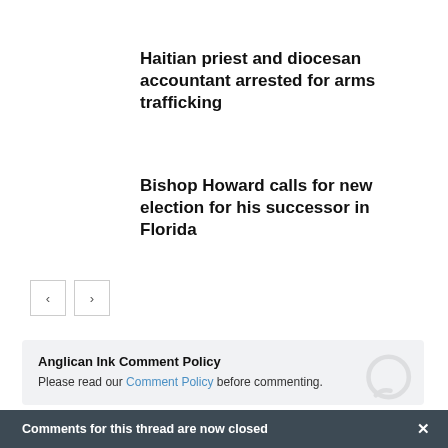Haitian priest and diocesan accountant arrested for arms trafficking
Bishop Howard calls for new election for his successor in Florida
[Figure (other): Navigation previous and next arrow buttons]
Anglican Ink Comment Policy
Please read our Comment Policy before commenting.
Comments for this thread are now closed